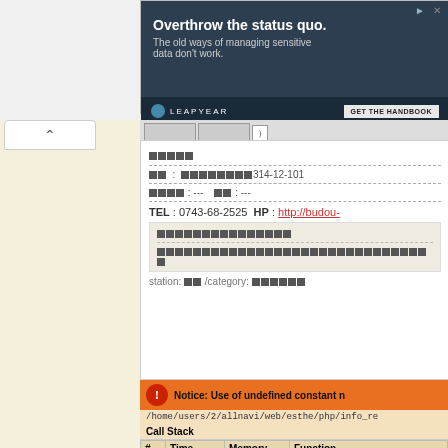[Figure (screenshot): Ad banner for Leapyear - 'Overthrow the status quo. The old ways of managing sensitive data don't work.' with GET THE HANDBOOK button]
[Figure (screenshot): Web page screenshot showing a shop listing with Japanese text, TEL: 0743-68-2525, HP link, station and category info]
TEL : 0743-68-2525  HP : http://budou-
station: 駅 /category: カテゴリ
Notice: Use of undefined constant n /home/users/2/allnavi/web/esthe/php/info_re
| # | Time | Memory | Function |
| --- | --- | --- | --- |
| 1 | 0.0002 | 227256 | {main}( ) |
| 2 | 0.0003 | 262034 | include( /home/users/2/allnavi/... |